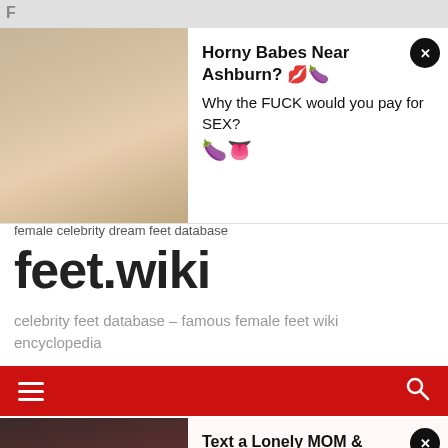[Figure (screenshot): Top advertisement banner with photo of blonde woman and text 'Horny Babes Near Ashburn?' with emojis, subtitle 'Why the FUCK would you pay for SEX?' with eggplant and tongue emojis, and close X button]
female celebrity dream feet database
feet.wiki
celebrity feet database – famous female feet wiki encyclopedia
[Figure (screenshot): Red navigation bar with hamburger menu icon on left and search icon on right]
[Figure (screenshot): Bottom advertisement banner with photo of blonde woman in red outfit and text 'Text a Lonely MOM & Fuck for FREE' with eggplant emoji, blue droplets emoji, subtitle 'Bang a MILF that Hates her Husband!' with tongue and lips emojis, close X button, ALWAYS label at bottom of image]